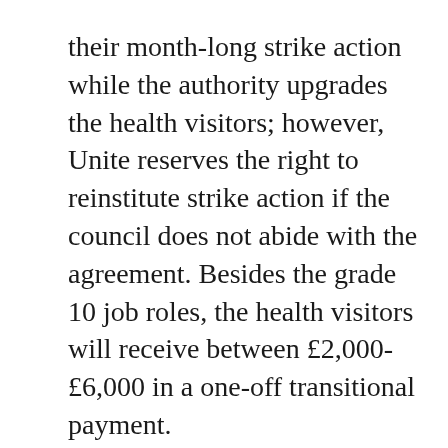their month-long strike action while the authority upgrades the health visitors; however, Unite reserves the right to reinstitute strike action if the council does not abide with the agreement. Besides the grade 10 job roles, the health visitors will receive between £2,000- £6,000 in a one-off transitional payment.
More than 70 Unite health visitors voted for the month-long, now suspended, strike that started on 18 November. Of those about 58 will now be fast tracked to the grade 10 posts with 16 further Agenda for Change AfC) staff awaiting confirmation; about 13 have left or are departing to take up alternative employment within nursing, which leaves a handful of relatively new health visitors on